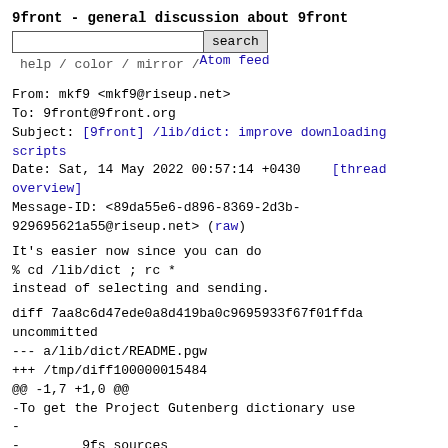9front - general discussion about 9front
search   help / color / mirror / Atom feed
From: mkf9 <mkf9@riseup.net>
To: 9front@9front.org
Subject: [9front] /lib/dict: improve downloading scripts
Date: Sat, 14 May 2022 00:57:14 +0430    [thread overview]
Message-ID: <89da55e6-d896-8369-2d3b-929695621a55@riseup.net> (raw)
It's easier now since you can do
% cd /lib/dict ; rc *
instead of selecting and sending.
diff 7aa8c6d47ede0a8d419ba0c9695933f67f01ffda uncommitted
--- a/lib/dict/README.pgw
+++ /tmp/diff100000015484
@@ -1,7 +1,0 @@
-To get the Project Gutenberg dictionary use
-
-        9fs sources
-        cp /n/sources/extra/pgw.tar.bz2 /tmp
-        cd /lib/dict
-        bunzip2 < /tmp/pgw.tar.bz2 | tar x
-